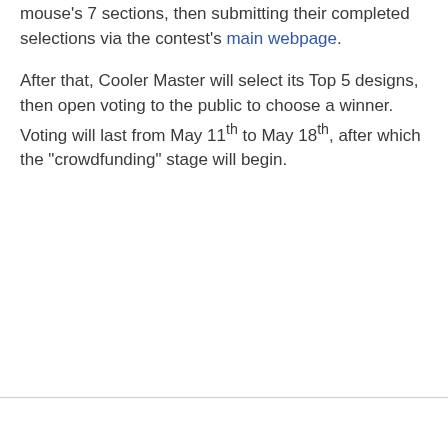mouse's 7 sections, then submitting their completed selections via the contest's main webpage.
After that, Cooler Master will select its Top 5 designs, then open voting to the public to choose a winner. Voting will last from May 11th to May 18th, after which the "crowdfunding" stage will begin.